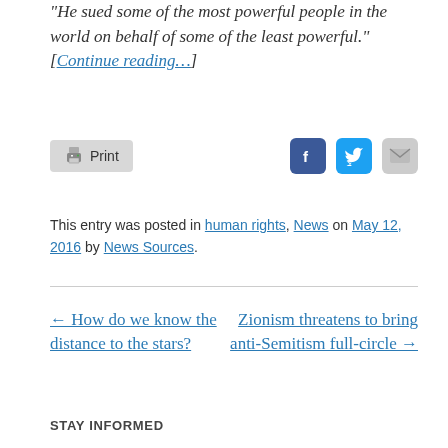“He sued some of the most powerful people in the world on behalf of some of the least powerful.” [Continue reading…]
[Figure (other): Print button with printer icon, and social sharing icons for Facebook, Twitter, and email]
This entry was posted in human rights, News on May 12, 2016 by News Sources.
← How do we know the distance to the stars?
Zionism threatens to bring anti-Semitism full-circle →
STAY INFORMED